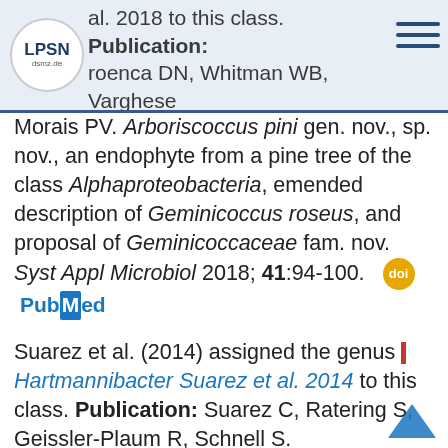al. 2018 to this class. Publication: roenca DN, Whitman WB, Varghese N, Shapiro N, Woyke T, Kyrpides NC,
Morais PV. Arboriscoccus pini gen. nov., sp. nov., an endophyte from a pine tree of the class Alphaproteobacteria, emended description of Geminicoccus roseus, and proposal of Geminicoccaceae fam. nov. Syst Appl Microbiol 2018; 41:94-100. [doi] [PubMed]
Suarez et al. (2014) assigned the genus | Hartmannibacter Suarez et al. 2014 to this class. Publication: Suarez C, Ratering S, Geissler-Plaum R, Schnell S. Hartmannibacter diazotrophicus gen. nov., sp. nov., a phosphate-solubilizing and nitrogen-